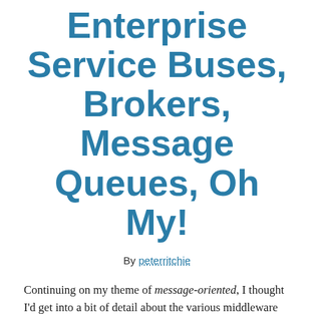Enterprise Service Buses, Brokers, Message Queues, Oh My!
By peterritchie
Continuing on my theme of message-oriented, I thought I'd get into a bit of detail about the various middleware options and some details about these options.
Regardless of what type of middleware is chosen, one thing is common to all types of message-oriented middleware—the fact that